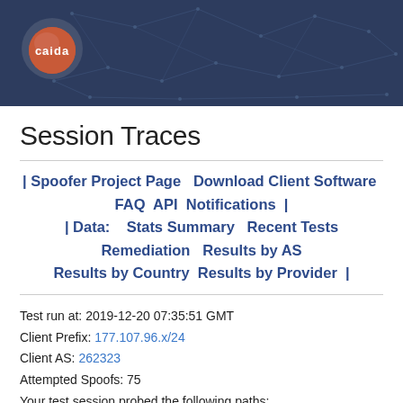[Figure (logo): CAIDA logo with orange/red globe on dark navy background with network graph lines]
Session Traces
| Spoofer Project Page   Download Client Software   FAQ   API   Notifications   |
| Data:    Stats Summary   Recent Tests   Remediation   Results by AS   Results by Country   Results by Provider   |
Test run at: 2019-12-20 07:35:51 GMT
Client Prefix: 177.107.96.x/24
Client AS: 262323
Attempted Spoofs: 75
Your test session probed the following paths: